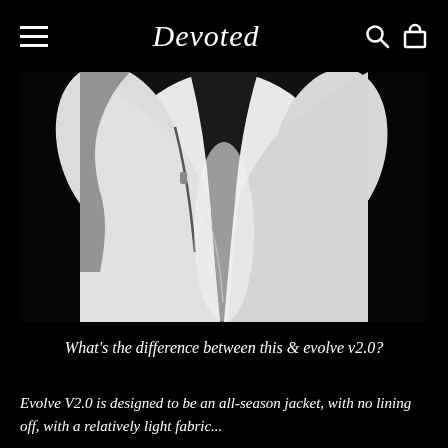Devoted
[Figure (photo): Black and white close-up photo of a person wearing a white jacket with black zipper details against a dark background]
What's the difference between this & evolve v2.0?
Evolve V2.0 is designed to be an all-season jacket, with no lining off, with a relatively light fabric...